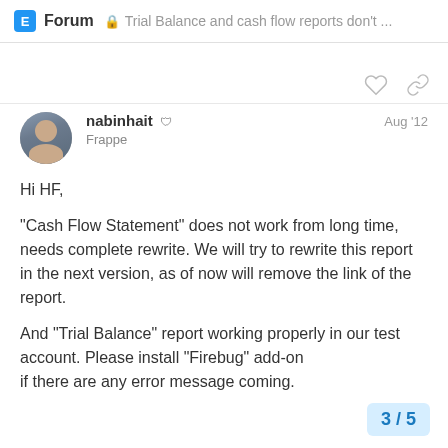E Forum | Trial Balance and cash flow reports don't ...
nabinhait 🛡 Frappe Aug '12
Hi HF,
“Cash Flow Statement” does not work from long time, needs complete rewrite. We will try to rewrite this report in the next version, as of now will remove the link of the report.
And “Trial Balance” report working properly in our test account. Please install “Firebug” add-on if there are any error message coming.
3 / 5